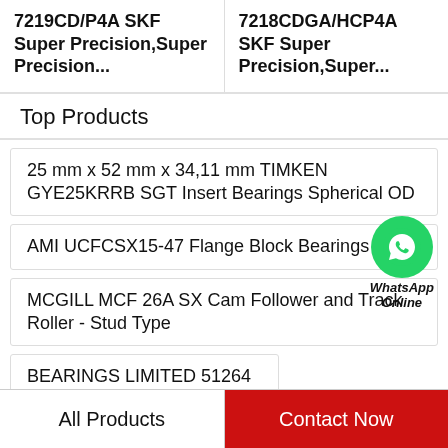7219CD/P4A SKF Super Precision,Super Precision...
7218CDGA/HCP4A SKF Super Precision,Super...
Top Products
25 mm x 52 mm x 34,11 mm TIMKEN GYE25KRRB SGT Insert Bearings Spherical OD
AMI UCFCSX15-47 Flange Block Bearings
MCGILL MCF 26A SX Cam Follower and Track Roller - Stud Type
BEARINGS LIMITED 51264 M Ball Bearings
[Figure (illustration): WhatsApp Online green phone icon bubble with text 'WhatsApp Online']
All Products
Contact Now